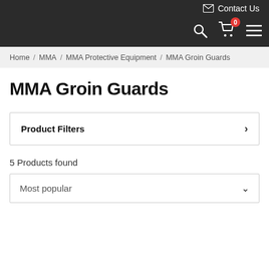Contact Us
Home / MMA / MMA Protective Equipment / MMA Groin Guards
MMA Groin Guards
Product Filters
5 Products found
Most popular